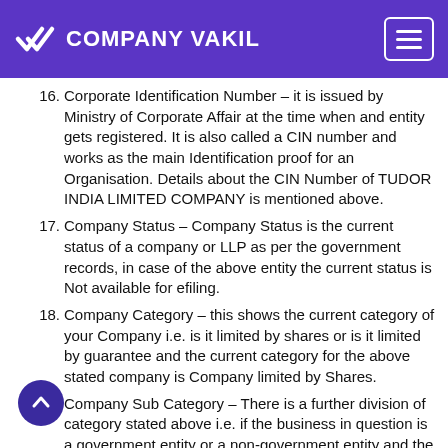COMPANY VAKIL
16. Corporate Identification Number – it is issued by Ministry of Corporate Affair at the time when and entity gets registered. It is also called a CIN number and works as the main Identification proof for an Organisation. Details about the CIN Number of TUDOR INDIA LIMITED COMPANY is mentioned above.
17. Company Status – Company Status is the current status of a company or LLP as per the government records, in case of the above entity the current status is Not available for efiling.
18. Company Category – this shows the current category of your Company i.e. is it limited by shares or is it limited by guarantee and the current category for the above stated company is Company limited by Shares.
19. Company Sub Category – There is a further division of category stated above i.e. if the business in question is a government entity or a non-government entity and the one being discussed is a Non-govt company.